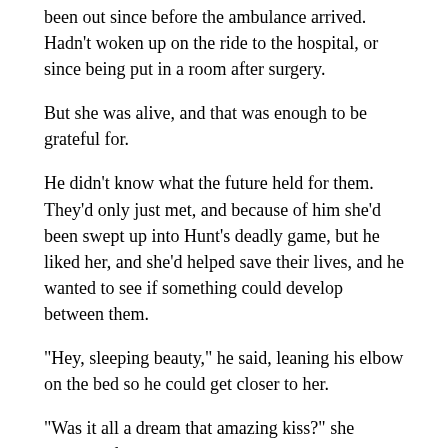been out since before the ambulance arrived. Hadn't woken up on the ride to the hospital, or since being put in a room after surgery.
But she was alive, and that was enough to be grateful for.
He didn't know what the future held for them. They'd only just met, and because of him she'd been swept up into Hunt's deadly game, but he liked her, and she'd helped save their lives, and he wanted to see if something could develop between them.
“Hey, sleeping beauty,” he said, leaning his elbow on the bed so he could get closer to her.
“Was it all a dream that amazing kiss?” she murmured.
“You tell me.” Coop leaned down and whispered his lips across hers.
“No, it wasn’t a dream.” Those sweet, tempting lips curved up into a smile. “We’re both alive, and you’re here,” she said as she opened her